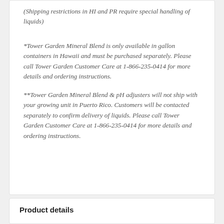(Shipping restrictions in HI and PR require special handling of liquids)
*Tower Garden Mineral Blend is only available in gallon containers in Hawaii and must be purchased separately. Please call Tower Garden Customer Care at 1-866-235-0414 for more details and ordering instructions.
**Tower Garden Mineral Blend & pH adjusters will not ship with your growing unit in Puerto Rico. Customers will be contacted separately to confirm delivery of liquids. Please call Tower Garden Customer Care at 1-866-235-0414 for more details and ordering instructions.
Product details